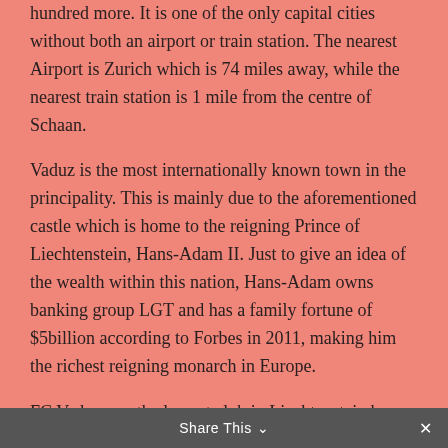hundred more. It is one of the only capital cities without both an airport or train station. The nearest Airport is Zurich which is 74 miles away, while the nearest train station is 1 mile from the centre of Schaan.
Vaduz is the most internationally known town in the principality. This is mainly due to the aforementioned castle which is home to the reigning Prince of Liechtenstein, Hans-Adam II. Just to give an idea of the wealth within this nation, Hans-Adam owns banking group LGT and has a family fortune of $5billion according to Forbes in 2011, making him the richest reigning monarch in Europe.
FC Vaduz, are the largest club in Liechtenstein by some margin. They play their matches at the Rheinpark Stadion which holds 7,838. FCV, however, are part of a small group of teams that do not play their league
Share This ∨  ✕